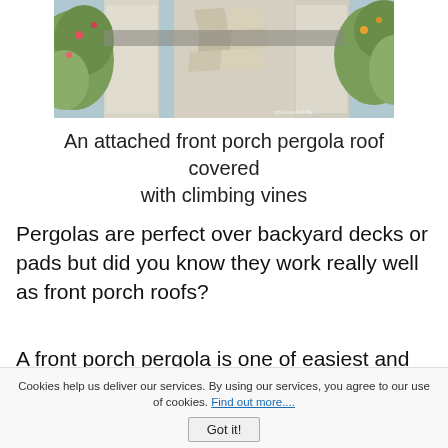[Figure (photo): Photo of an attached front porch pergola roof covered with climbing vines, stone pillars visible, garden flowers in background]
An attached front porch pergola roof covered with climbing vines
Pergolas are perfect over backyard decks or pads but did you know they work really well as front porch roofs?
A front porch pergola is one of easiest and least expensive porch roof option. Pergolas provide
Cookies help us deliver our services. By using our services, you agree to our use of cookies. Find out more.... Got it!